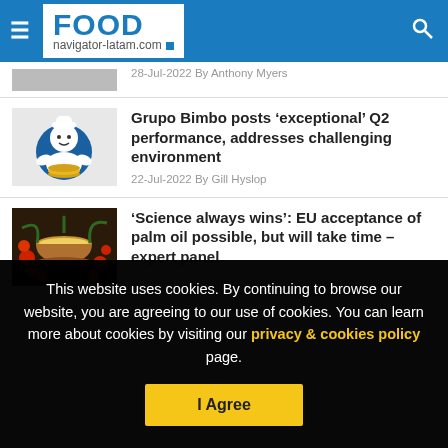FOOD navigator-latam.com
28-Jul-2022 By Anthony Myers
Grupo Bimbo posts ‘exceptional’ Q2 performance, addresses challenging environment
22-Jul-2022 By Gill Hyslop
‘Science always wins’: EU acceptance of palm oil possible, but will take time – expert panel
This website uses cookies. By continuing to browse our website, you are agreeing to our use of cookies. You can learn more about cookies by visiting our privacy & cookies policy page.